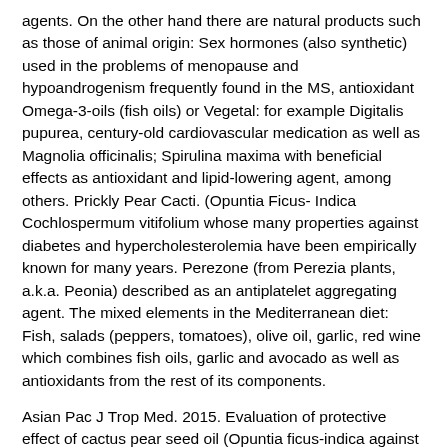agents. On the other hand there are natural products such as those of animal origin: Sex hormones (also synthetic) used in the problems of menopause and hypoandrogenism frequently found in the MS, antioxidant Omega-3-oils (fish oils) or Vegetal: for example Digitalis pupurea, century-old cardiovascular medication as well as Magnolia officinalis; Spirulina maxima with beneficial effects as antioxidant and lipid-lowering agent, among others. Prickly Pear Cacti. (Opuntia Ficus- Indica Cochlospermum vitifolium whose many properties against diabetes and hypercholesterolemia have been empirically known for many years. Perezone (from Perezia plants, a.k.a. Peonia) described as an antiplatelet aggregating agent. The mixed elements in the Mediterranean diet: Fish, salads (peppers, tomatoes), olive oil, garlic, red wine which combines fish oils, garlic and avocado as well as antioxidants from the rest of its components.
Asian Pac J Trop Med. 2015. Evaluation of protective effect of cactus pear seed oil (Opuntia ficus-indica against alloxan-induced diabetes in mice.
Q. I saw this Litramine supplement on the Dr. OZ show and have been searching online trying to research it and find out where to buy it. There wasn't a lot online about supplements